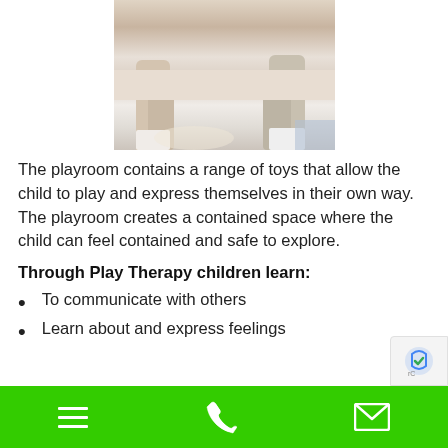[Figure (photo): Children sitting on a couch or ottoman playing with colorful toys, shown from the waist down]
The playroom contains a range of toys that allow the child to play and express themselves in their own way. The playroom creates a contained space where the child can feel contained and safe to explore.
Through Play Therapy children learn:
To communicate with others
Learn about and express feelings
Navigation bar with menu, phone, and email icons